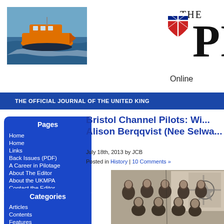[Figure (photo): Orange RNLI lifeboat at sea, bow-on view with wake, blue sky and water]
[Figure (logo): THE PI logo with UK pilotage crest, partial masthead of The Pilot magazine online]
THE OFFICIAL JOURNAL OF THE UNITED KING
Pages
Home
Home
Links
Back Issues (PDF)
A Career in Pilotage
About The Editor
About the UKMPA
Contact the Editor
Categories
Articles
Contents
Features
History
Bristol Channel Pilots: Wi... Alison Berqqvist (Nee Selwa...
July 18th, 2013 by JCB
Posted in History | 10 Comments »
[Figure (photo): Black and white historical group photograph of Bristol Channel pilots in formal attire, with a flag bearing a cross/badge in the background]